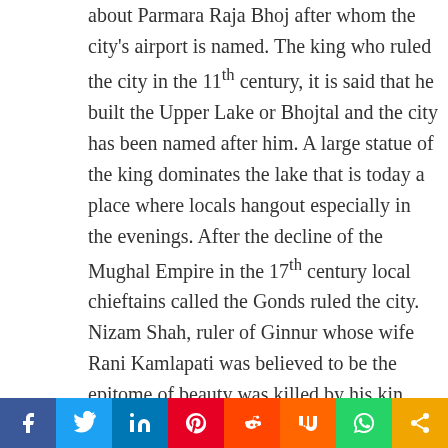about Parmara Raja Bhoj after whom the city's airport is named. The king who ruled the city in the 11th century, it is said that he built the Upper Lake or Bhojtal and the city has been named after him. A large statue of the king dominates the lake that is today a place where locals hangout especially in the evenings. After the decline of the Mughal Empire in the 17th century local chieftains called the Gonds ruled the city. Nizam Shah, ruler of Ginnur whose wife Rani Kamlapati was believed to be the epitome of beauty was killed by his kin Alam
Social share bar: Facebook, Twitter, LinkedIn, Pinterest, Reddit, Mix, WhatsApp, Share